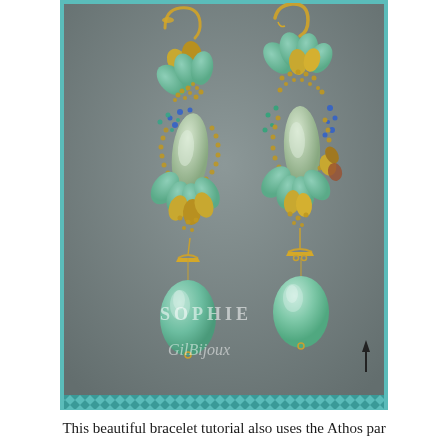[Figure (photo): A photograph of a pair of ornate beaded earrings on a gray background. The earrings feature mint/teal teardrop petal-shaped beads, gold metallic accents, blue crystal rhinestones, seed beads in gold/bronze tones, and a large mint green teardrop pendant bead. Gold fish-hook ear wires. Watermarks 'SOPHIE' and 'GilBijoux' are visible, along with a small upward arrow. A teal/turquoise decorative border frames the image.]
This beautiful bracelet tutorial also uses the Athos par